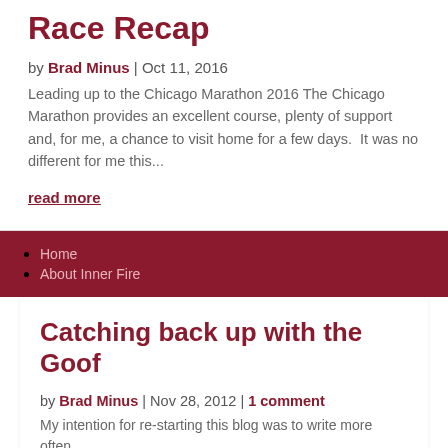Race Recap
by Brad Minus | Oct 11, 2016
Leading up to the Chicago Marathon 2016 The Chicago Marathon provides an excellent course, plenty of support and, for me, a chance to visit home for a few days.  It was no different for me this...
read more
Home
About Inner Fire
Catching back up with the Goof
by Brad Minus | Nov 28, 2012 | 1 comment
My intention for re-starting this blog was to write more often...